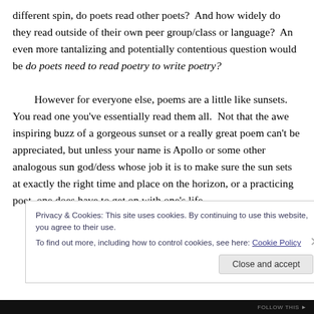different spin, do poets read other poets?  And how widely do they read outside of their own peer group/class or language?  An even more tantalizing and potentially contentious question would be do poets need to read poetry to write poetry?

However for everyone else, poems are a little like sunsets.  You read one you've essentially read them all.  Not that the awe inspiring buzz of a gorgeous sunset or a really great poem can't be appreciated, but unless your name is Apollo or some other analogous sun god/dess whose job it is to make sure the sun sets at exactly the right time and place on the horizon, or a practicing poet, one does have to get on with one's life.
Privacy & Cookies: This site uses cookies. By continuing to use this website, you agree to their use.
To find out more, including how to control cookies, see here: Cookie Policy